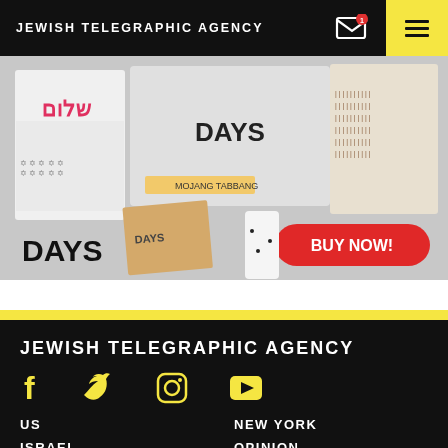JEWISH TELEGRAPHIC AGENCY
[Figure (photo): Advertisement showing Jewish-themed products including a book with Hebrew text (Shalom), packages labeled DAYS, a tablet calendar, and a notebook, with a red BUY NOW! button]
JEWISH TELEGRAPHIC AGENCY
[Figure (infographic): Social media icons: Facebook (f), Twitter (bird), Instagram (camera), YouTube (play button) in yellow on black background]
US
NEW YORK
ISRAEL
OPINION